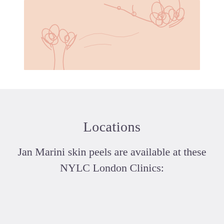[Figure (illustration): Peach/salmon colored banner with floral line art drawings (flowers and leaves) and five pagination dots below it, first dot filled dark indicating active state]
Locations
Jan Marini skin peels are available at these NYLC London Clinics: